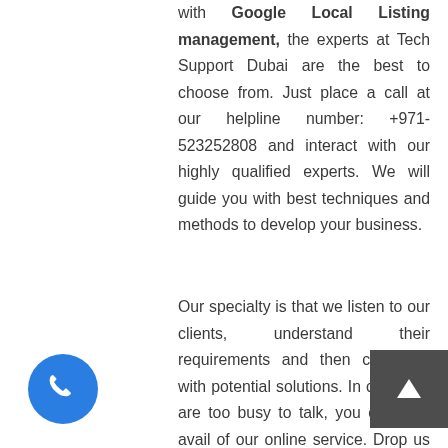with Google Local Listing management, the experts at Tech Support Dubai are the best to choose from. Just place a call at our helpline number: +971-523252808 and interact with our highly qualified experts. We will guide you with best techniques and methods to develop your business.
Our specialty is that we listen to our clients, understand their requirements and then come up with potential solutions. In case you are too busy to talk, you can also avail of our online service. Drop us a mail enlisting your worries at our registered mail id and one of our executives will get back to you in the next 24 hours. We also provide SMO Service in Dubai.